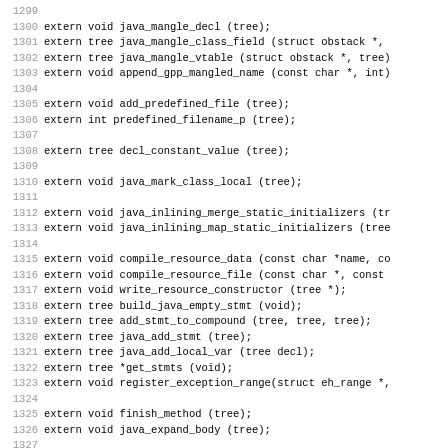Source code listing lines 1299-1330 with C extern function declarations